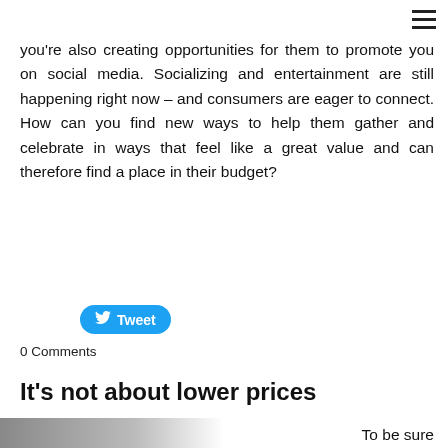[Figure (other): Hamburger menu icon (three horizontal lines) in top right corner]
you're also creating opportunities for them to promote you on social media. Socializing and entertainment are still happening right now – and consumers are eager to connect. How can you find new ways to help them gather and celebrate in ways that feel like a great value and can therefore find a place in their budget?
[Figure (other): Tweet button (blue pill-shaped button with Twitter bird icon and 'Tweet' text)]
0 Comments
It's not about lower prices
7/18/2022
0 Comments
To be sure